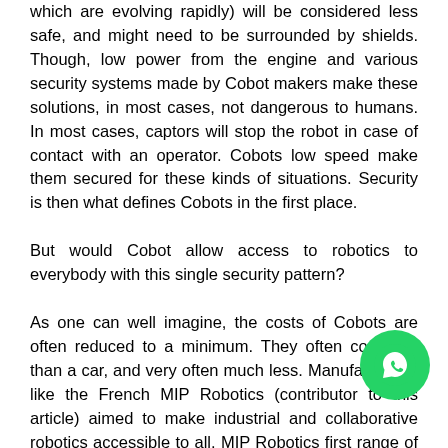which are evolving rapidly) will be considered less safe, and might need to be surrounded by shields. Though, low power from the engine and various security systems made by Cobot makers make these solutions, in most cases, not dangerous to humans. In most cases, captors will stop the robot in case of contact with an operator. Cobots low speed make them secured for these kinds of situations. Security is then what defines Cobots in the first place. But would Cobot allow access to robotics to everybody with this single security pattern? As one can well imagine, the costs of Cobots are often reduced to a minimum. They often cost less than a car, and very often much less. Manufacturers, like the French MIP Robotics (contributor to this article) aimed to make industrial and collaborative robotics accessible to all. MIP Robotics first range of “Cobots” called Junior [t] possible to automate simple, repetitive and painful ta [t]at a very low cost (lower than 10 K€ for one robot). This low
[Figure (other): WhatsApp chat button icon (green circle with white phone/chat logo)]